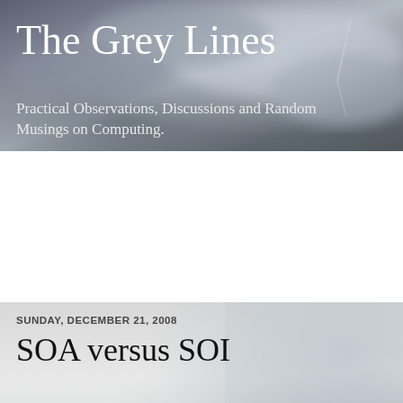The Grey Lines
Practical Observations, Discussions and Random Musings on Computing.
SUNDAY, DECEMBER 21, 2008
SOA versus SOI
I read this post from Anne Thomas Manes about SOA and SOI. I have to disagree with the assessment. SOA does not have to be extremely disruptive to be started or to be successful. SOI, don't love another acronym, is a very good way for companies to actually get started down the SOA path without the major disruption.
Standards based integration with Services as the focal point can lead to the reduction of the very legacy systems Anne is talking about. If done correctly the plumbing can make the